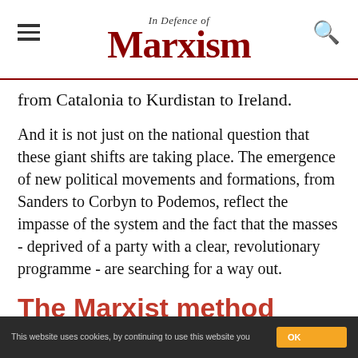In Defence of Marxism
from Catalonia to Kurdistan to Ireland.
And it is not just on the national question that these giant shifts are taking place. The emergence of new political movements and formations, from Sanders to Corbyn to Podemos, reflect the impasse of the system and the fact that the masses - deprived of a party with a clear, revolutionary programme - are searching for a way out.
The Marxist method
For Marxists, the national question presents one of the most challenging and complex questions - one
This website uses cookies, by continuing to use this website you